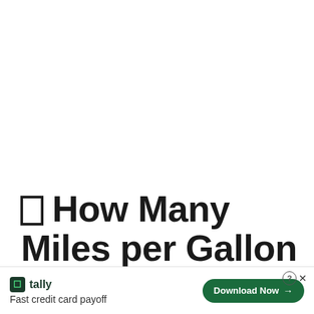🔲 How Many Miles per Gallon (MPG) Does a 2002 Chevrolet S10 Pi... GW...
[Figure (screenshot): Advertisement banner at bottom: Tally app ad with 'Fast credit card payoff' tagline and 'Download Now' button]